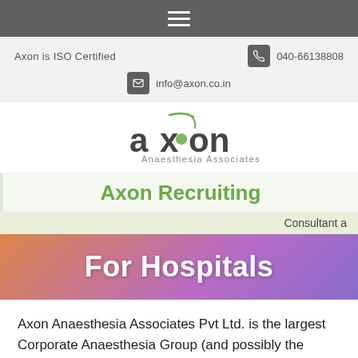Navigation menu (hamburger icon)
Axon is ISO Certified
040-66138808
info@axon.co.in
[Figure (logo): Axon Anaesthesia Associates logo with green stylized 'axon' text and tagline]
Axon Recruiting
Consultant a
For Hospitals
Axon Anaesthesia Associates Pvt Ltd. is the largest Corporate Anaesthesia Group (and possibly the largest Medical Professional Group) in India with over 20 years of